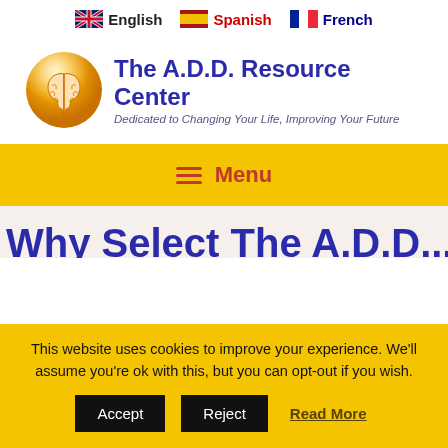English  Spanish  French
[Figure (logo): The A.D.D. Resource Center logo — orange circle with brain icon, blue bold title text 'The A.D.D. Resource Center', italic subtitle 'Dedicated to Changing Your Life, Improving Your Future']
Menu
Why Select The A.D.D...
This website uses cookies to improve your experience. We'll assume you're ok with this, but you can opt-out if you wish.